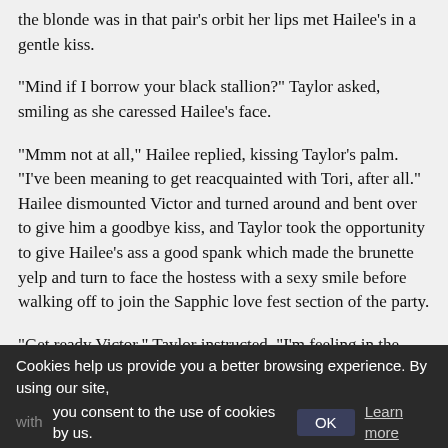the blonde was in that pair's orbit her lips met Hailee's in a gentle kiss.
"Mind if I borrow your black stallion?" Taylor asked, smiling as she caressed Hailee's face.
"Mmm not at all," Hailee replied, kissing Taylor's palm. "I've been meaning to get reacquainted with Tori, after all." Hailee dismounted Victor and turned around and bent over to give him a goodbye kiss, and Taylor took the opportunity to give Hailee's ass a good spank which made the brunette yelp and turn to face the hostess with a sexy smile before walking off to join the Sapphic love fest section of the party.
"Get ready Victor," Taylor instructed. "I'm feeling in the mood for a bit of a lust triangle. It's kind of like a love triangle without all the hang-ups." Taylor climbed on the couch and on top of Victor. She wasted no time in mounting his prick and Victor was much the same in putting his hands on Taylor's body, letting them raom from her hips to her tits and back again as the bombshell began to ride his cock.
Cookies help us provide you a better browsing experience. By using our site, with you consent to the use of cookies by us. Learn more hand while the other loudly smacked her ass. "Use that fucking dick!"